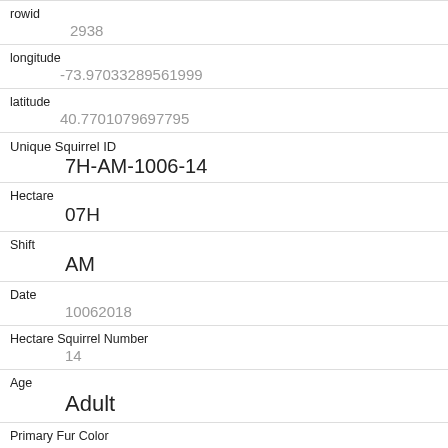| Field | Value |
| --- | --- |
| rowid | 2938 |
| longitude | -73.97033289561999 |
| latitude | 40.7701079697795 |
| Unique Squirrel ID | 7H-AM-1006-14 |
| Hectare | 07H |
| Shift | AM |
| Date | 10062018 |
| Hectare Squirrel Number | 14 |
| Age | Adult |
| Primary Fur Color | Cinnamon |
| Highlight Fur Color |  |